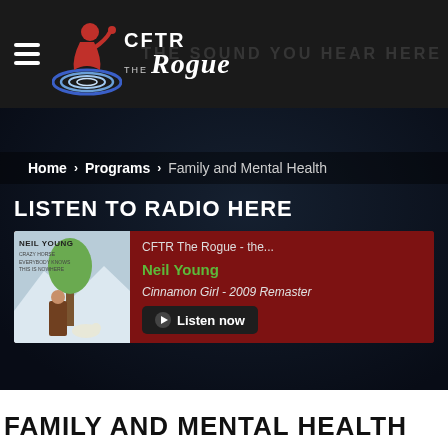CFTR The Rogue - THE SOUND YOU HEAR HERE
Home > Programs > Family and Mental Health
LISTEN TO RADIO HERE
[Figure (screenshot): Radio player card showing album art for Neil Young Decade, with track info: CFTR The Rogue - the... / Neil Young / Cinnamon Girl - 2009 Remaster, and a Listen now button]
CFTR The Rogue - the...
Neil Young
Cinnamon Girl - 2009 Remaster
FAMILY AND MENTAL HEALTH